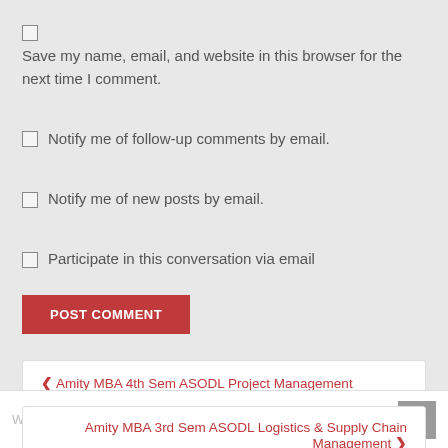Save my name, email, and website in this browser for the next time I comment.
Notify me of follow-up comments by email.
Notify me of new posts by email.
Participate in this conversation via email
POST COMMENT
❮ Amity MBA 4th Sem ASODL Project Management
Amity MBA 3rd Sem ASODL Logistics & Supply Chain Management ❯
Welcome to KimSharma.co.in – 8290772200